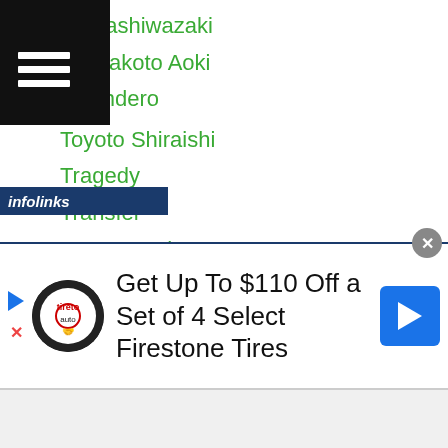Navigation menu header (black bar with hamburger icon)
ho Kashiwazaki
ho Makoto Aoki
o Landero
Toyoto Shiraishi
Tragedy
Transfer
Tran Van Thao
Tsendsuren Bat Ireedui
Tsubasa Koura
Tsubasa Murachi
Tsubasa Murata
Tsubasa Narai
Tsukasa Saito
Tsukimi Namiki
Tsuyoshi Hamada
Tsuyoshi Kawatani
[Figure (screenshot): Infolinks advertisement banner: Get Up To $110 Off a Set of 4 Select Firestone Tires]